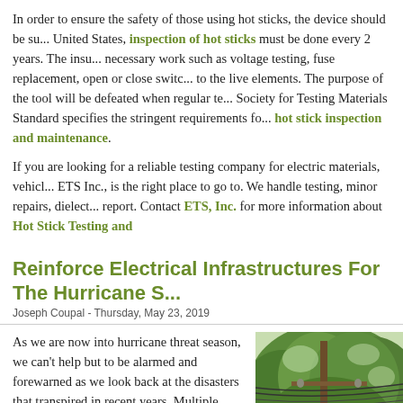In order to ensure the safety of those using hot sticks, the device should be su... United States, inspection of hot sticks must be done every 2 years. The insu... necessary work such as voltage testing, fuse replacement, open or close switc... to the live elements. The purpose of the tool will be defeated when regular te... Society for Testing Materials Standard specifies the stringent requirements fo... hot stick inspection and maintenance.
If you are looking for a reliable testing company for electric materials, vehicl... ETS Inc., is the right place to go to. We handle testing, minor repairs, dielect... report. Contact ETS, Inc. for more information about Hot Stick Testing and...
Reinforce Electrical Infrastructures For The Hurricane S...
Joseph Coupal - Thursday, May 23, 2019
As we are now into hurricane threat season, we can't help but to be alarmed and forewarned as we look back at the disasters that transpired in recent years. Multiple power lines were downed and vast areas were affected with extended power outages.
We serve the industrial and commercial sectors to prepare for the worst case scenarios. Failure in the grid is inevitable when furious storms hits the electrical infrastructure. We need to accept the fact that there are elements that are beyond our control. But we can do something to somehow lessen its
[Figure (photo): Photo of a utility power pole with power lines among green trees, depicting storm damage or infrastructure in a wooded area.]